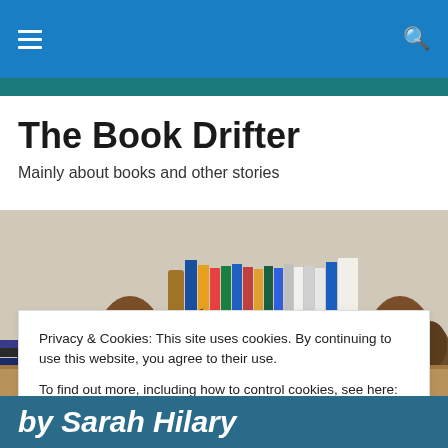The Book Drifter – navigation bar
The Book Drifter
Mainly about books and other stories
[Figure (photo): Bookshelf with colourful travel guides (London, Barcelona, Rome, etc.) and two wooden owl bookends, with pine cones on the side]
Privacy & Cookies: This site uses cookies. By continuing to use this website, you agree to their use.
To find out more, including how to control cookies, see here: Cookie Policy
Close and accept
by Sarah Hilary